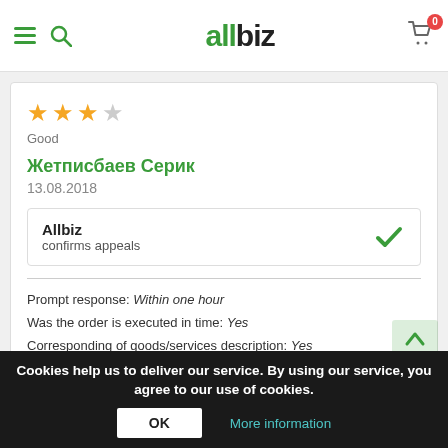allbiz navigation header with hamburger menu, search icon, allbiz logo, and cart with badge 0
[Figure (other): Star rating: 3 out of 5 stars (3 filled orange stars, 1 empty star shown)]
Good
Жетписбаев Серик
13.08.2018
Allbiz
confirms appeals
Prompt response: Within one hour
Was the order is executed in time: Yes
Corresponding of goods/services description: Yes
Cookies help us to deliver our service. By using our service, you agree to our use of cookies. OK More information